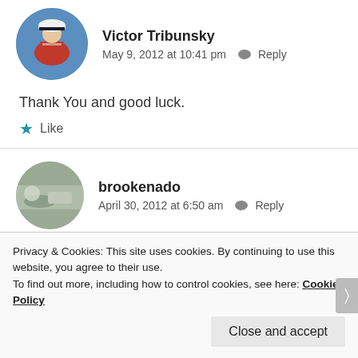[Figure (photo): Avatar of Victor Tribunsky, a man wearing a white captain's hat and red polo shirt]
Victor Tribunsky
May 9, 2012 at 10:41 pm   Reply
Thank You and good luck.
★ Like
[Figure (photo): Avatar of brookenado, appears to be an outdoor/beach scene]
brookenado
April 30, 2012 at 6:50 am   Reply
Privacy & Cookies: This site uses cookies. By continuing to use this website, you agree to their use.
To find out more, including how to control cookies, see here: Cookie Policy
Close and accept